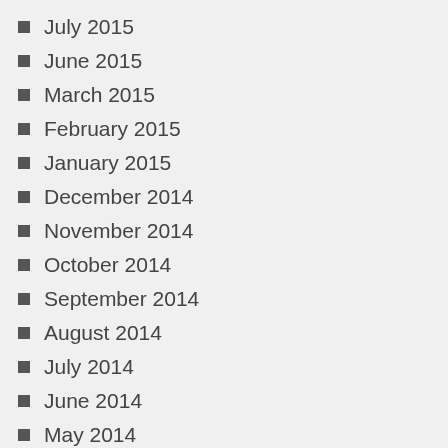July 2015
June 2015
March 2015
February 2015
January 2015
December 2014
November 2014
October 2014
September 2014
August 2014
July 2014
June 2014
May 2014
April 2014
March 2014
February 2014
January 2014